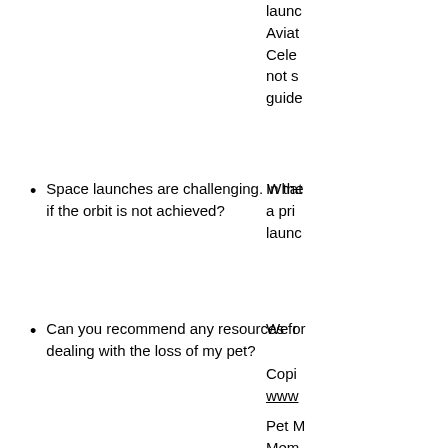launc Aviation Cele not s guide
Space launches are challenging. What if the orbit is not achieved?
In the a pri launc
Can you recommend any resources for dealing with the loss of my pet?
We r
Copi www
Pet M Mem